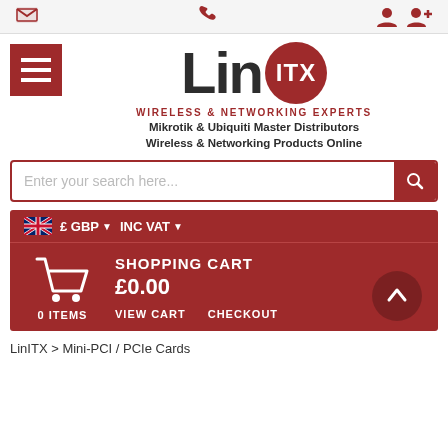Email | Phone | User | Add User
[Figure (logo): LinITX logo with hamburger menu, red circle ITX badge, tagline WIRELESS & NETWORKING EXPERTS, Mikrotik & Ubiquiti Master Distributors, Wireless & Networking Products Online]
Enter your search here...
£ GBP ▼  INC VAT ▼
SHOPPING CART
£0.00
0 ITEMS
VIEW CART
CHECKOUT
LinITX > Mini-PCI / PCIe Cards